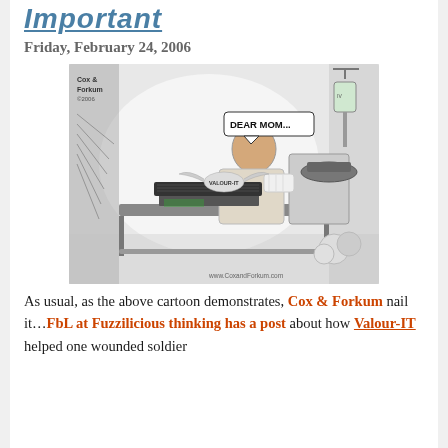Important
Friday, February 24, 2006
[Figure (illustration): Cox & Forkum political cartoon showing a wounded soldier in a hospital bed typing on a laptop computer saying 'DEAR MOM...' with Project Valour-IT logo/imagery. An IV drip is visible in the background. Website URL www.CoxandForkum.com shown at bottom.]
As usual, as the above cartoon demonstrates, Cox & Forkum nail it...FbL at Fuzzilicious thinking has a post about how Valour-IT helped one wounded soldier